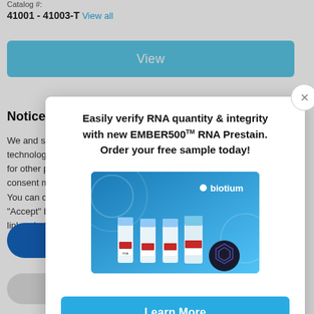Catalog #:
41001 - 41003-T  View all
View
Notice
We and selected technologies for te for other purposes consent may make You can consent t "Accept" button, b link or button outsi otherwise.
Easily verify RNA quantity & integrity with new EMBER500™ RNA Prestain. Order your free sample today!
[Figure (photo): Photo of Biotium EMBER500 RNA Prestain product — four reagent vials/tubes with red and white labels in front of a blue branded Biotium box]
Learn More
Terms & conditions may apply.